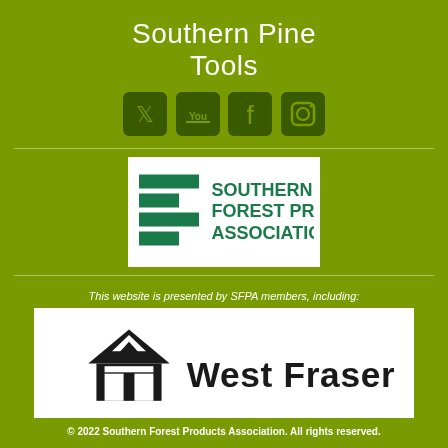Southern Pine Tools
[Figure (infographic): Four social media icons: Twitter, YouTube, Facebook, Instagram]
[Figure (logo): Southern Forest Products Association logo on white background]
This website is presented by SFPA members, including:
[Figure (logo): West Fraser logo on white background]
© 2022 Southern Forest Products Association. All rights reserved.